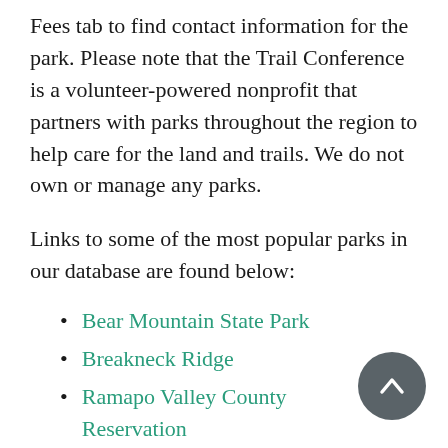Fees tab to find contact information for the park. Please note that the Trail Conference is a volunteer-powered nonprofit that partners with parks throughout the region to help care for the land and trails. We do not own or manage any parks.
Links to some of the most popular parks in our database are found below:
Bear Mountain State Park
Breakneck Ridge
Ramapo Valley County Reservation
Sam's Point Preserve